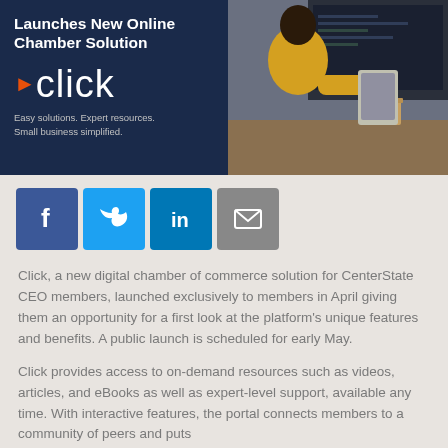[Figure (infographic): Banner advertisement for 'Click' — CenterState CEO Launches New Online Chamber Solution. Dark navy left panel with 'Click' logo (with orange arrow), tagline 'Easy solutions. Expert resources. Small business simplified.' Right panel shows a photo of a woman in yellow working at a computer.]
[Figure (infographic): Social sharing buttons: Facebook (blue), Twitter (light blue), LinkedIn (dark blue), Email (gray)]
Click, a new digital chamber of commerce solution for CenterState CEO members, launched exclusively to members in April giving them an opportunity for a first look at the platform's unique features and benefits. A public launch is scheduled for early May.
Click provides access to on-demand resources such as videos, articles, and eBooks as well as expert-level support, available any time. With interactive features, the portal connects members to a community of peers and puts